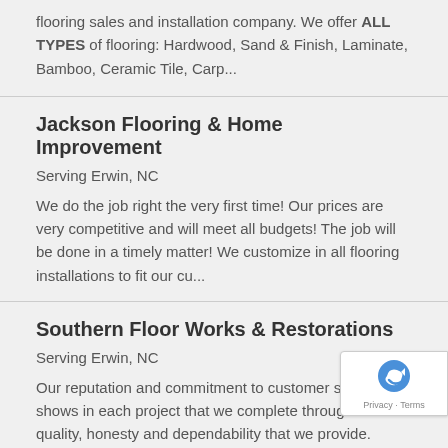flooring sales and installation company. We offer ALL TYPES of flooring: Hardwood, Sand & Finish, Laminate, Bamboo, Ceramic Tile, Carp...
Jackson Flooring & Home Improvement
Serving Erwin, NC
We do the job right the very first time! Our prices are very competitive and will meet all budgets! The job will be done in a timely matter! We customize in all flooring installations to fit our cu...
Southern Floor Works & Restorations
Serving Erwin, NC
Our reputation and commitment to customer service shows in each project that we complete through the quality, honesty and dependability that we provide. During these economical challenging times we st...